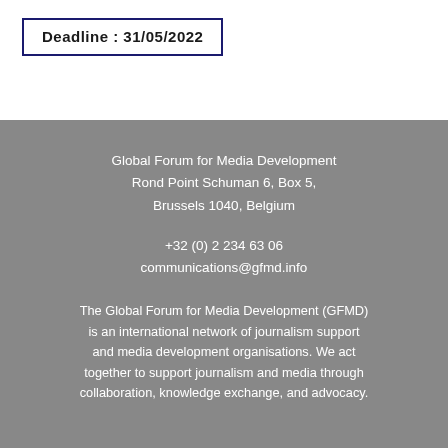Deadline: 31/05/2022
Global Forum for Media Development
Rond Point Schuman 6, Box 5,
Brussels 1040, Belgium
+32 (0) 2 234 63 06
communications@gfmd.info
The Global Forum for Media Development (GFMD) is an international network of journalism support and media development organisations. We act together to support journalism and media through collaboration, knowledge exchange, and advocacy.